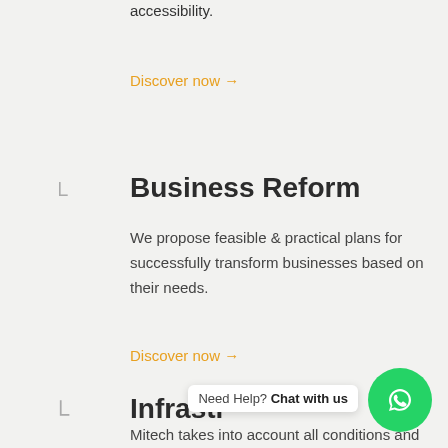accessibility.
Discover now →
Business Reform
We propose feasible & practical plans for successfully transform businesses based on their needs.
Discover now →
Infrastr...
Mitech takes into account all conditions and
Need Help? Chat with us